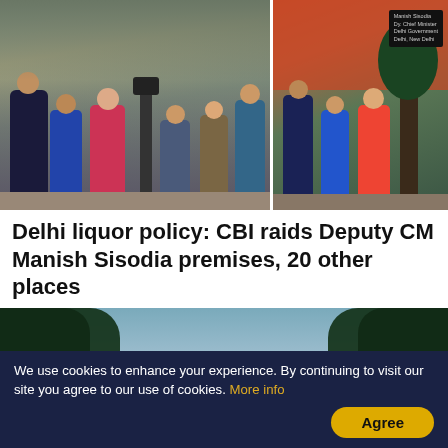[Figure (photo): News reporters and camera crew gathered outside a premises; two separate scenes shown side by side — crowd of journalists on the left and a smaller group with trees on the right]
Delhi liquor policy: CBI raids Deputy CM Manish Sisodia premises, 20 other places
[Figure (photo): The Supreme Court of India building with its prominent dome, flanked by large green trees under a blue sky]
We use cookies to enhance your experience. By continuing to visit our site you agree to our use of cookies. More info